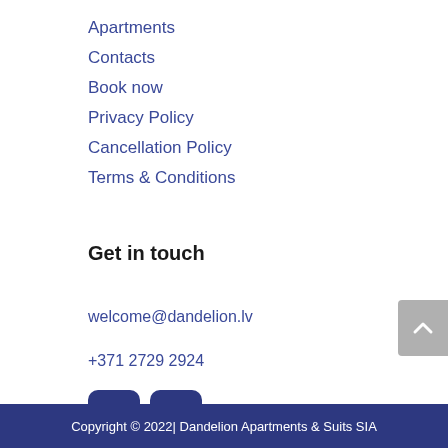Apartments
Contacts
Book now
Privacy Policy
Cancellation Policy
Terms & Conditions
Get in touch
welcome@dandelion.lv
+371 2729 2924
[Figure (other): Facebook and Instagram social media icon buttons]
Copyright © 2022| Dandelion Apartments & Suits SIA